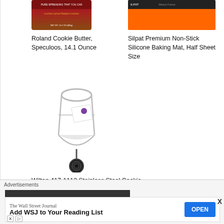[Figure (photo): Product image of Roland Cookie Butter, Speculoos jar with red label]
Roland Cookie Butter, Speculoos, 14.1 Ounce
[Figure (photo): Product image of Silpat Premium Non-Stick Silicone Baking Mat with orange and dark label]
Silpat Premium Non-Stick Silicone Baking Mat, Half Sheet Size
[Figure (photo): Wilton 417-1112 Stainless Steel Cookie Scoop with a white tag and black wheel at base]
Wilton 417-1112 Stainless Steel Cookie Scoop, Silver
Nutrition Information: YIELD:20
Advertisements
The Wall Street Journal
Add WSJ to Your Reading List